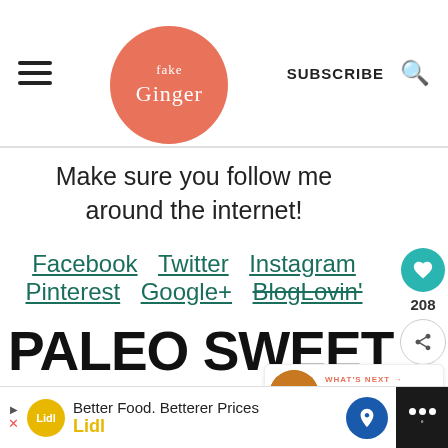Fake Ginger — SUBSCRIBE
Make sure you follow me around the internet!
Facebook   Twitter   Instagram   Pinterest   Google+   BlogLovin'
PALEO SWEET POTATO WAFFLES
[Figure (other): What's Next sidebar widget showing Baked Sweet Potato Chips with thumbnail image]
[Figure (other): Lidl advertisement banner: Better Food. Betterer Prices — Lidl]